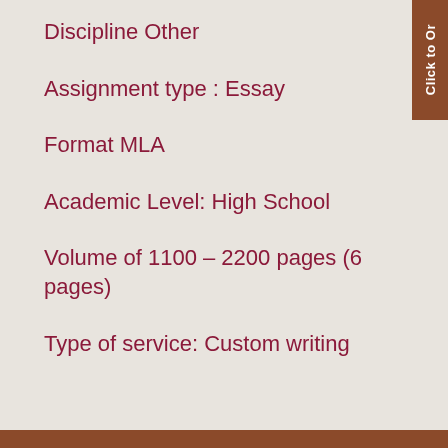Discipline Other
Assignment type : Essay
Format MLA
Academic Level: High School
Volume of 1100 – 2200 pages (6 pages)
Type of service: Custom writing